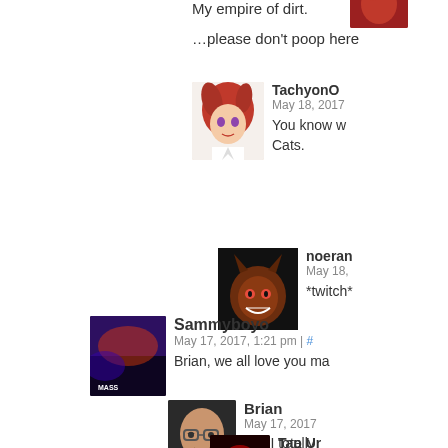My empire of dirt.
…please don't poop here
TachyonO
May 18, 2017
You know w
Cats.
noeran
May 18,
*twitch*
Sammyboyo
May 17, 2017, 1:21 pm | #
Brian, we all love you ma
Brian
May 17, 2017
Oh! I totally
Tap Ur
Septemb